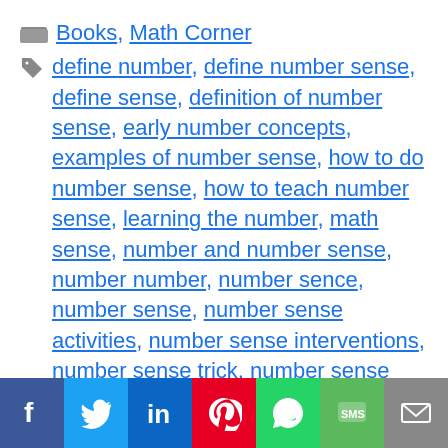Books, Math Corner
define number, define number sense, define sense, definition of number sense, early number concepts, examples of number sense, how to do number sense, how to teach number sense, learning the number, math sense, number and number sense, number number, number sence, number sense, number sense activities, number sense interventions, number sense trick, number sense worksheets sense definition, number skills, numerical numbers, sense